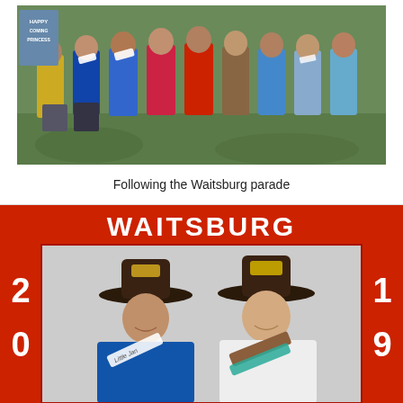[Figure (photo): Group photo of women in pageant sashes and casual clothes seated and standing outdoors on a grassy area following the Waitsburg parade. A sign in background reads 'Happy Coming Princess'.]
Following the Waitsburg parade
[Figure (photo): Two young women in cowboy hats holding a red 'WAITSBURG 2019' photo booth frame prop. The woman on the left wears a blue shirt and white sash, the woman on the right wears a white shirt with a teal/brown sash.]